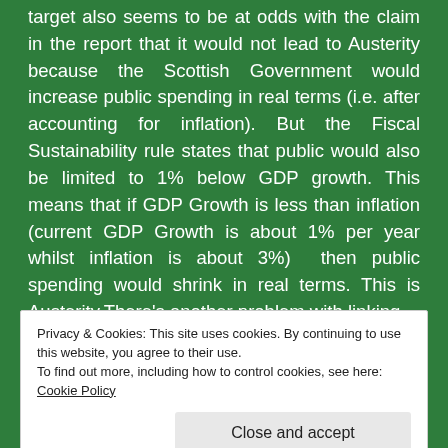target also seems to be at odds with the claim in the report that it would not lead to Austerity because the Scottish Government would increase public spending in real terms (i.e. after accounting for inflation). But the Fiscal Sustainability rule states that public would also be limited to 1% below GDP growth. This means that if GDP Growth is less than inflation (current GDP Growth is about 1% per year whilst inflation is about 3%) then public spending would shrink in real terms. This is Austerity.There's another problem with linking
Privacy & Cookies: This site uses cookies. By continuing to use this website, you agree to their use.
To find out more, including how to control cookies, see here: Cookie Policy
Close and accept
revenues might not. Without additional tax